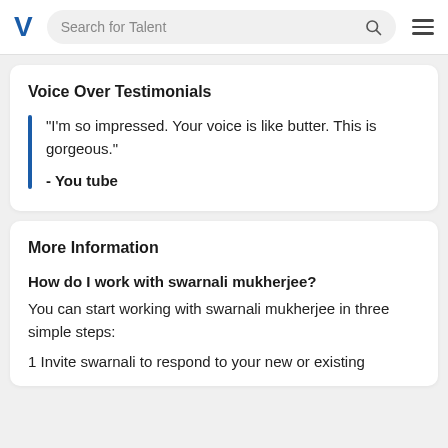V  Search for Talent
Voice Over Testimonials
“I’m so impressed. Your voice is like butter. This is gorgeous.”
- You tube
More Information
How do I work with swarnali mukherjee?
You can start working with swarnali mukherjee in three simple steps:
1  Invite swarnali to respond to your new or existing